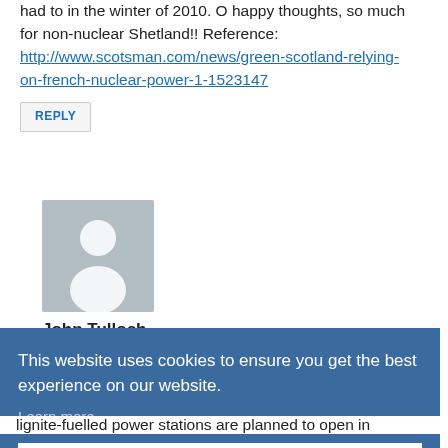had to in the winter of 2010. O happy thoughts, so much for non-nuclear Shetland!! Reference:
http://www.scotsman.com/news/green-scotland-relying-on-french-nuclear-power-1-1523147
REPLY
[Figure (photo): Default user avatar — grey square with white silhouette person icon]
John Tulloch
This website uses cookies to ensure you get the best experience on our website.
Learn more
Got it!
lignite-fuelled power stations are planned to open in